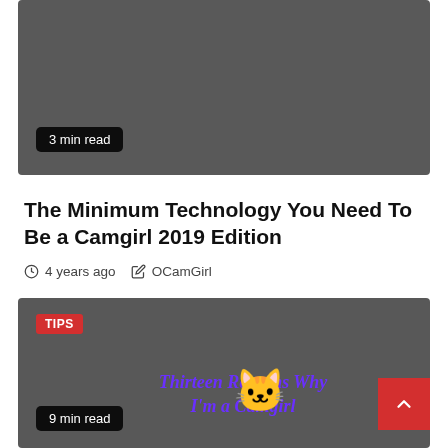[Figure (screenshot): Dark grey card image placeholder with '3 min read' badge overlay]
3 min read
The Minimum Technology You Need To Be a Camgirl 2019 Edition
4 years ago   OCamGirl
[Figure (screenshot): Dark grey card image for 'Thirteen Reasons Why I'm a Camgirl' with cat illustration, TIPS badge, and '9 min read' badge]
TIPS
Thirteen Reasons Why I'm a Camgirl
9 min read